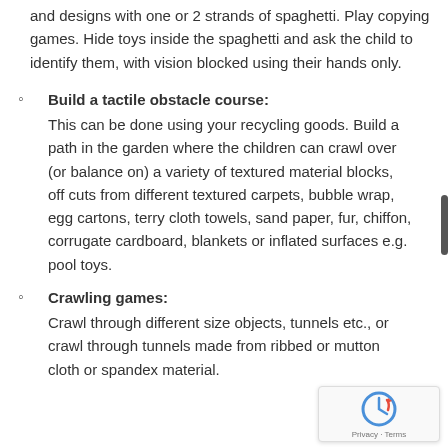and designs with one or 2 strands of spaghetti. Play copying games. Hide toys inside the spaghetti and ask the child to identify them, with vision blocked using their hands only.
Build a tactile obstacle course: This can be done using your recycling goods. Build a path in the garden where the children can crawl over (or balance on) a variety of textured material blocks, off cuts from different textured carpets, bubble wrap, egg cartons, terry cloth towels, sand paper, fur, chiffon, corrugate cardboard, blankets or inflated surfaces e.g. pool toys.
Crawling games: Crawl through different size objects, tunnels etc., or crawl through tunnels made from ribbed or mutton cloth or spandex material.